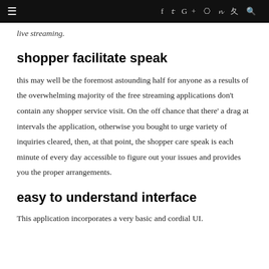≡  f  t  G+  ◻  p  v  🔍
live streaming.
shopper facilitate speak
this may well be the foremost astounding half for anyone as a results of the overwhelming majority of the free streaming applications don't contain any shopper service visit. On the off chance that there' a drag at intervals the application, otherwise you bought to urge variety of inquiries cleared, then, at that point, the shopper care speak is each minute of every day accessible to figure out your issues and provides you the proper arrangements.
easy to understand interface
This application incorporates a very basic and cordial UI.